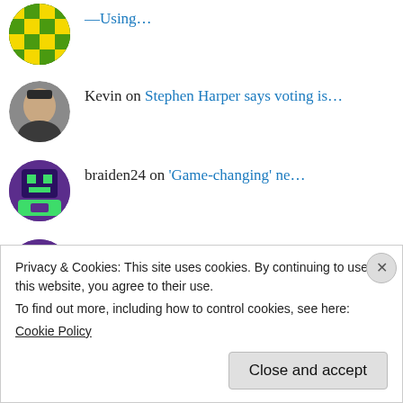—Using...
Kevin on Stephen Harper says voting is...
braiden24 on 'Game-changing' ne...
braiden24 on Canadian Minister Aglukkaq...
bodabodame on US Midterm Election Results an...
Privacy & Cookies: This site uses cookies. By continuing to use this website, you agree to their use. To find out more, including how to control cookies, see here: Cookie Policy